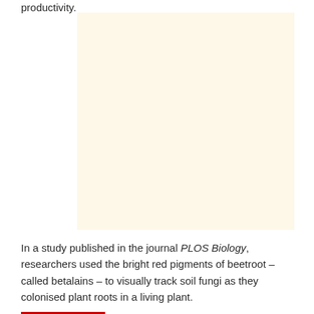productivity.
[Figure (photo): A blank cream/off-white rectangular image placeholder.]
In a study published in the journal PLOS Biology, researchers used the bright red pigments of beetroot – called betalains – to visually track soil fungi as they colonised plant roots in a living plant.